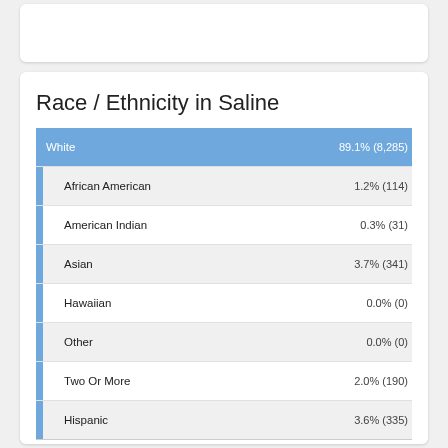Race / Ethnicity in Saline
[Figure (bar-chart): Race / Ethnicity in Saline]
| Race | Saline | MI | USA |
| --- | --- | --- | --- |
| White | 89.1% | 74.5% | 60.1% |